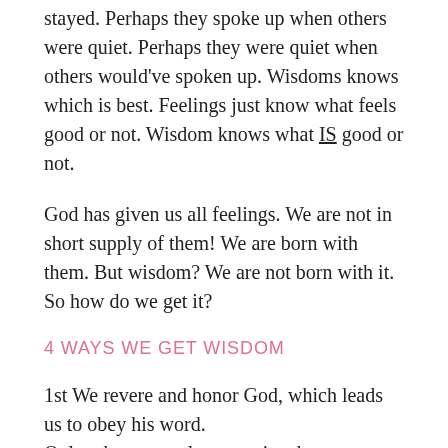stayed. Perhaps they spoke up when others were quiet. Perhaps they were quiet when others would've spoken up. Wisdoms knows which is best. Feelings just know what feels good or not. Wisdom knows what IS good or not.
God has given us all feelings. We are not in short supply of them! We are born with them. But wisdom? We are not born with it. So how do we get it?
4 WAYS WE GET WISDOM
1st We revere and honor God, which leads us to obey his word.
Only when we truly recognize the great divide that separates us from God, do we truly understand how in the